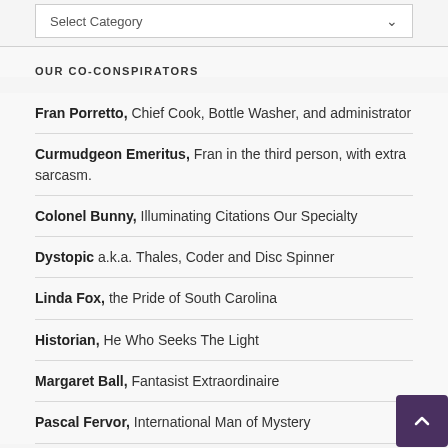Select Category
OUR CO-CONSPIRATORS
Fran Porretto, Chief Cook, Bottle Washer, and administrator
Curmudgeon Emeritus, Fran in the third person, with extra sarcasm.
Colonel Bunny, Illuminating Citations Our Specialty
Dystopic a.k.a. Thales, Coder and Disc Spinner
Linda Fox, the Pride of South Carolina
Historian, He Who Seeks The Light
Margaret Ball, Fantasist Extraordinaire
Pascal Fervor, International Man of Mystery